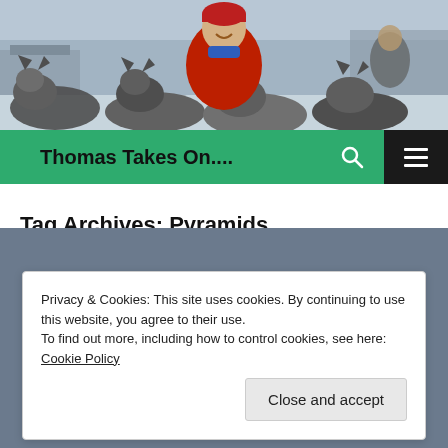[Figure (photo): A person in a red jacket and red beanie hat smiling among several sled dogs (huskies) in a snowy outdoor setting with kennels and trees in the background.]
Thomas Takes On....
Tag Archives: Pyramids
Privacy & Cookies: This site uses cookies. By continuing to use this website, you agree to their use.
To find out more, including how to control cookies, see here: Cookie Policy
Close and accept